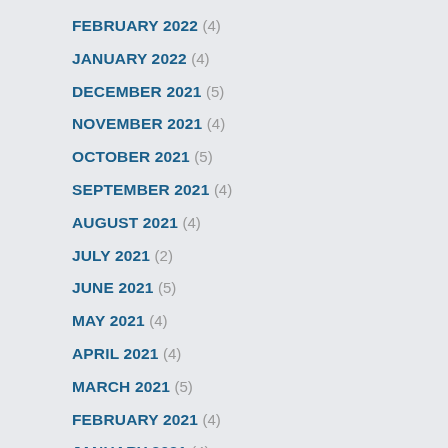FEBRUARY 2022 (4)
JANUARY 2022 (4)
DECEMBER 2021 (5)
NOVEMBER 2021 (4)
OCTOBER 2021 (5)
SEPTEMBER 2021 (4)
AUGUST 2021 (4)
JULY 2021 (2)
JUNE 2021 (5)
MAY 2021 (4)
APRIL 2021 (4)
MARCH 2021 (5)
FEBRUARY 2021 (4)
JANUARY 2021 (4)
DECEMBER 2020 (6)